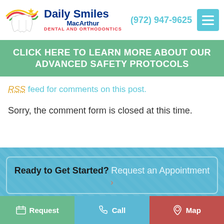[Figure (logo): Daily Smiles MacArthur Dental and Orthodontics logo with tooth graphic and star]
(972) 947-9625
CLICK HERE TO LEARN MORE ABOUT OUR ADVANCED SAFETY PROTOCOLS
RSS feed for comments on this post.
Sorry, the comment form is closed at this time.
Ready to Get Started? Request an Appointment >
Request   Call   Map